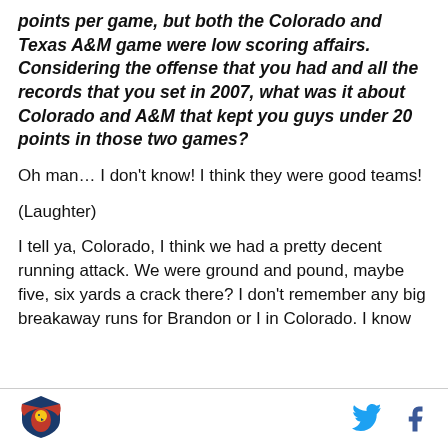points per game, but both the Colorado and Texas A&M game were low scoring affairs. Considering the offense that you had and all the records that you set in 2007, what was it about Colorado and A&M that kept you guys under 20 points in those two games?
Oh man… I don't know! I think they were good teams!
(Laughter)
I tell ya, Colorado, I think we had a pretty decent running attack. We were ground and pound, maybe five, six yards a crack there? I don't remember any big breakaway runs for Brandon or I in Colorado. I know
[Figure (logo): SB Nation shield/eagle logo in blue and red in the footer]
[Figure (logo): Twitter bird icon and Facebook f icon in the footer]